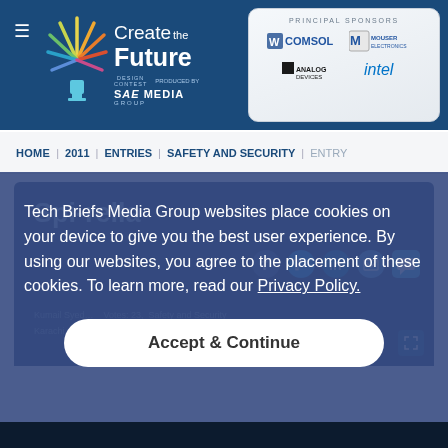Create the Future Design Contest — Produced by SAE Media Group | Principal Sponsors: COMSOL, Mouser Electronics, Analog Devices, Intel
HOME | 2011 | ENTRIES | SAFETY AND SECURITY | ENTRY
Spi-rella
Kumail Syed… Votes: 23, Safety and Security
Karachi, Pakistan… Views: 4362 Jun 26, 2011
Tech Briefs Media Group websites place cookies on your device to give you the best user experience. By using our websites, you agree to the placement of these cookies. To learn more, read our Privacy Policy.
Accept & Continue